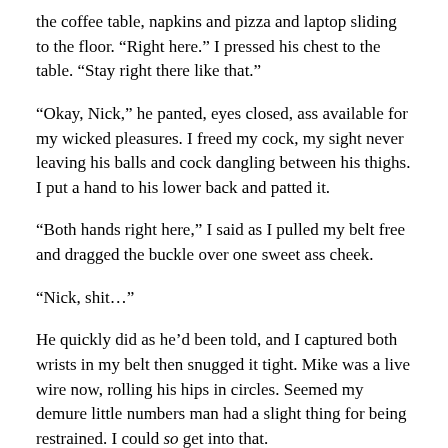the coffee table, napkins and pizza and laptop sliding to the floor. “Right here.” I pressed his chest to the table. “Stay right there like that.”
“Okay, Nick,” he panted, eyes closed, ass available for my wicked pleasures. I freed my cock, my sight never leaving his balls and cock dangling between his thighs. I put a hand to his lower back and patted it.
“Both hands right here,” I said as I pulled my belt free and dragged the buckle over one sweet ass cheek.
“Nick, shit…”
He quickly did as he’d been told, and I captured both wrists in my belt then snugged it tight. Mike was a live wire now, rolling his hips in circles. Seemed my demure little numbers man had a slight thing for being restrained. I could so get into that.
“We’re going to have to invest in some rope,” I said as I rolled a